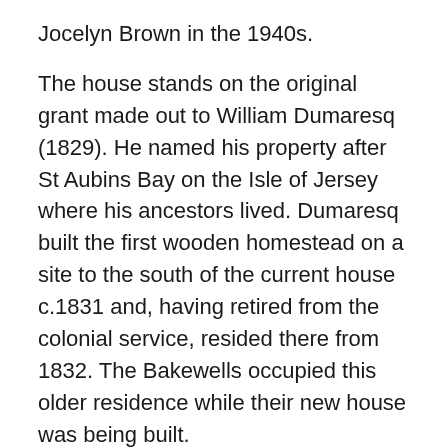Jocelyn Brown in the 1940s.
The house stands on the original grant made out to William Dumaresq (1829). He named his property after St Aubins Bay on the Isle of Jersey where his ancestors lived. Dumaresq built the first wooden homestead on a site to the south of the current house c.1831 and, having retired from the colonial service, resided there from 1832. The Bakewells occupied this older residence while their new house was being built.
Turanville
Turanville Rd is located about 3-4 km south of Scone. The old Turanville homestead is set back from the road and somewhat obscured by trees. Turanville was originally a 4000-acre grant selected by Henry Dangar